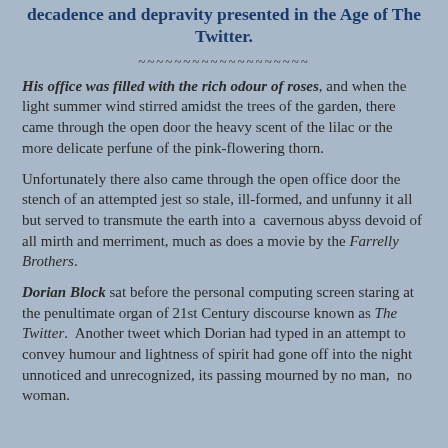decadence and depravity presented in the Age of The Twitter.
His office was filled with the rich odour of roses, and when the light summer wind stirred amidst the trees of the garden, there came through the open door the heavy scent of the lilac or the more delicate perfune of the pink-flowering thorn.
Unfortunately there also came through the open office door the stench of an attempted jest so stale, ill-formed, and unfunny it all but served to transmute the earth into a cavernous abyss devoid of all mirth and merriment, much as does a movie by the Farrelly Brothers.
Dorian Block sat before the personal computing screen staring at the penultimate organ of 21st Century discourse known as The Twitter. Another tweet which Dorian had typed in an attempt to convey humour and lightness of spirit had gone off into the night unnoticed and unrecognized, its passing mourned by no man,  no woman.